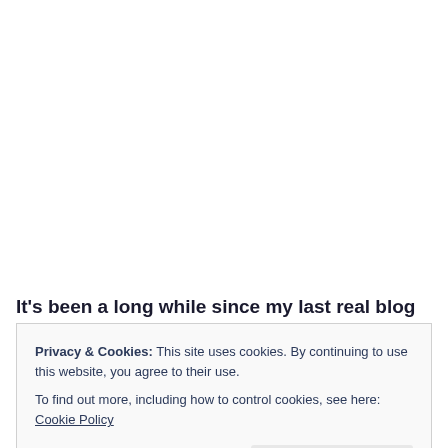It's been a long while since my last real blog post, but I
Privacy & Cookies: This site uses cookies. By continuing to use this website, you agree to their use.
To find out more, including how to control cookies, see here: Cookie Policy
earlier today, and decided that maybe we can make